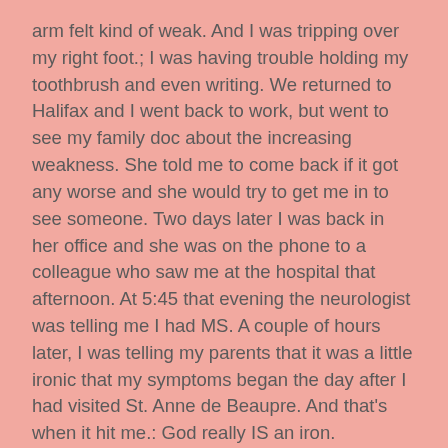arm felt kind of weak. And I was tripping over my right foot.; I was having trouble holding my toothbrush and even writing. We returned to Halifax and I went back to work, but went to see my family doc about the increasing weakness. She told me to come back if it got any worse and she would try to get me in to see someone. Two days later I was back in her office and she was on the phone to a colleague who saw me at the hospital that afternoon. At 5:45 that evening the neurologist was telling me I had MS. A couple of hours later, I was telling my parents that it was a little ironic that my symptoms began the day after I had visited St. Anne de Beaupre. And that's when it hit me.: God really IS an iron.
My grandmother received the postcard and just loved it. But the entire family was sworn to keep from her my diagnosis. She passed away a year and a half later and I like to think she passed into heaven dancing a Sottish jig and then, upon discovering I had MS, giving God a piece of her